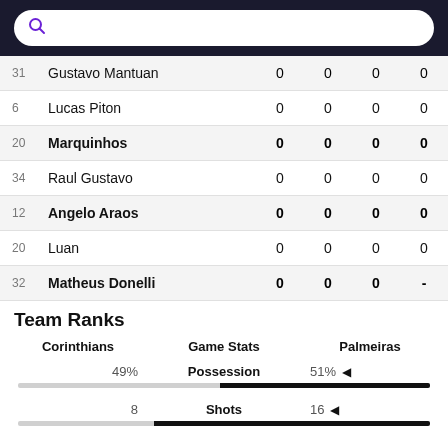| # | Name |  |  |  |  |
| --- | --- | --- | --- | --- | --- |
| 31 | Gustavo Mantuan | 0 | 0 | 0 | 0 |
| 6 | Lucas Piton | 0 | 0 | 0 | 0 |
| 20 | Marquinhos | 0 | 0 | 0 | 0 |
| 34 | Raul Gustavo | 0 | 0 | 0 | 0 |
| 12 | Angelo Araos | 0 | 0 | 0 | 0 |
| 20 | Luan | 0 | 0 | 0 | 0 |
| 32 | Matheus Donelli | 0 | 0 | 0 | - |
Team Ranks
| Corinthians | Game Stats | Palmeiras |
| --- | --- | --- |
| 49% | Possession | 51% |
| 8 | Shots | 16 |